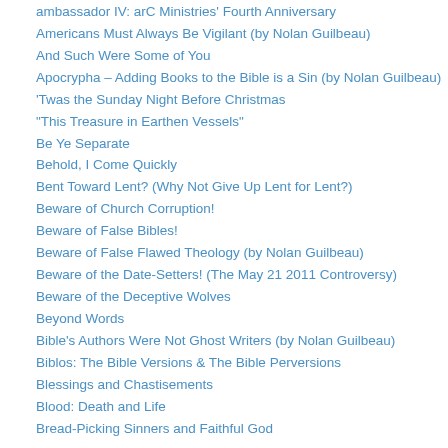ambassador IV: arC Ministries' Fourth Anniversary
Americans Must Always Be Vigilant (by Nolan Guilbeau)
And Such Were Some of You
Apocrypha – Adding Books to the Bible is a Sin (by Nolan Guilbeau)
'Twas the Sunday Night Before Christmas
“This Treasure in Earthen Vessels”
Be Ye Separate
Behold, I Come Quickly
Bent Toward Lent? (Why Not Give Up Lent for Lent?)
Beware of Church Corruption!
Beware of False Bibles!
Beware of False Flawed Theology (by Nolan Guilbeau)
Beware of the Date-Setters! (The May 21 2011 Controversy)
Beware of the Deceptive Wolves
Beyond Words
Bible's Authors Were Not Ghost Writers (by Nolan Guilbeau)
Biblos: The Bible Versions & The Bible Perversions
Blessings and Chastisements
Blood: Death and Life
Bread-Picking Sinners and Faithful God